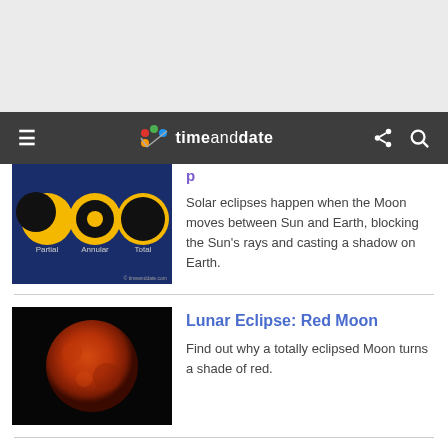timeanddate
[Figure (screenshot): Diagram showing three types of solar eclipses: Partial, Annular, and Total, illustrated with yellow and black moon/sun graphics on a dark blue background]
Solar eclipses happen when the Moon moves between Sun and Earth, blocking the Sun's rays and casting a shadow on Earth.
[Figure (photo): Photo of a red blood moon (total lunar eclipse) against a dark black sky]
Lunar Eclipse: Red Moon
Find out why a totally eclipsed Moon turns a shade of red.
November Beaver Moon